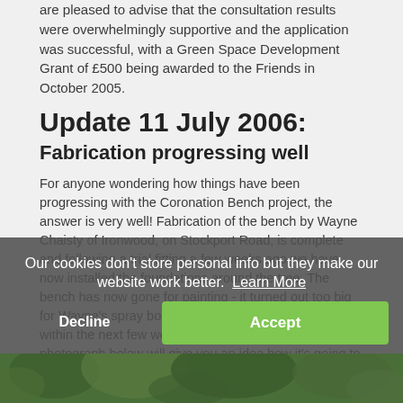are pleased to advise that the consultation results were overwhelmingly supportive and the application was successful, with a Green Space Development Grant of £500 being awarded to the Friends in October 2005.
Update 11 July 2006:
Fabrication progressing well
For anyone wondering how things have been progressing with the Coronation Bench project, the answer is very well! Fabrication of the bench by Wayne Chaisty of Ironwood, on Stockport Road, is complete and following a trial fitting a few weeks ago we have now installed the foundations around the tree. The bench has now gone for painting - it turned out too big for Wayne's spray booth - and will hopefully be in place within the next few weeks. In the meantime, the photograph below will give you an idea how it's going to look, as Adrian Ellis, Park Manager (right), and Mark Whittaker of the Friends of Memorial Park pose with one half of the bench in situ.
[Figure (photo): Photograph showing green foliage/park scene at bottom of page, partially obscured by cookie consent banner]